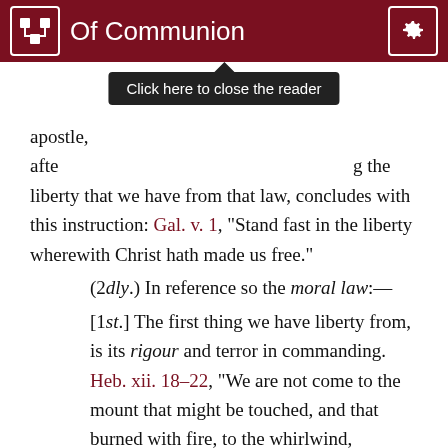Of Communion
apostle, after [tooltip obscures text] the liberty that we have from that law, concludes with this instruction: Gal. v. 1, “Stand fast in the liberty wherewith Christ hath made us free.”
(2dly.) In reference so the moral law:—
[1st.] The first thing we have liberty from, is its rigour and terror in commanding. Heb. xii. 18–22, “We are not come to the mount that might be touched, and that burned with fire, to the whirlwind, darkness, and tempest, to the sound of the trumpet, and the voice of words, which they that heard besought that they might hear it no more; but we are come to mount Sion,” etc. As to that